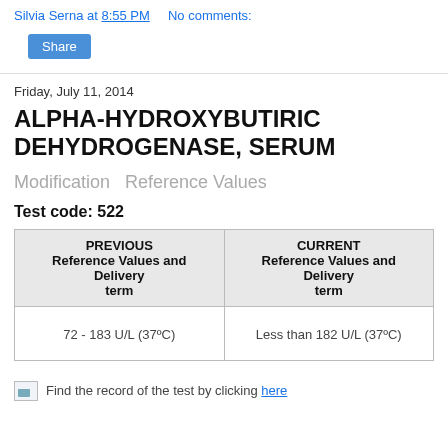Silvia Serna at 8:55 PM   No comments:
Share
Friday, July 11, 2014
ALPHA-HYDROXYBUTIRIC DEHYDROGENASE, SERUM
Modification  Reference Values
Test code: 522
| PREVIOUS
Reference Values and Delivery term | CURRENT
Reference Values and Delivery term |
| --- | --- |
| 72 - 183 U/L (37ºC) | Less than 182 U/L (37ºC) |
Find the record of the test by clicking here